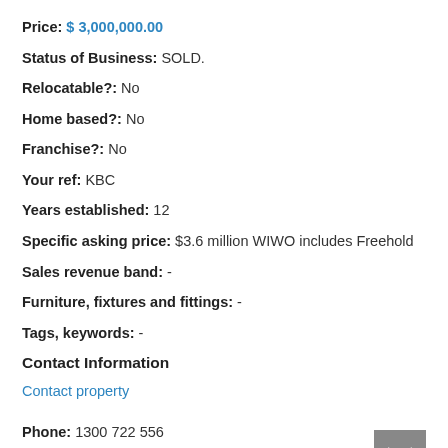Price: $ 3,000,000.00
Status of Business: SOLD.
Relocatable?: No
Home based?: No
Franchise?: No
Your ref: KBC
Years established: 12
Specific asking price: $3.6 million WIWO includes Freehold
Sales revenue band: -
Furniture, fixtures and fittings: -
Tags, keywords: -
Contact Information
Contact property
Phone: 1300 722 556
Location: Whitsunday, Queensland, Australia